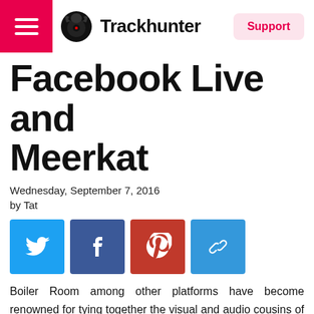Trackhunter | Support
Facebook Live and Meerkat
Wednesday, September 7, 2016
by Tat
[Figure (infographic): Row of four social share buttons: Twitter (blue bird), Facebook (dark blue f), Pinterest (red P), Link (blue chain icon)]
Boiler Room among other platforms have become renowned for tying together the visual and audio cousins of dance music. Clubbing is a very visual experience, there are flashing lights, the DJ performing and of course other people gyrating to the